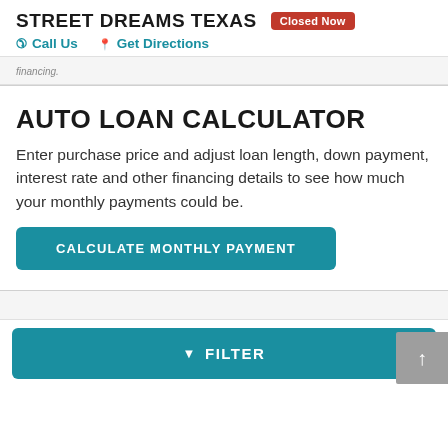STREET DREAMS TEXAS  Closed Now
Call Us   Get Directions
financing.
AUTO LOAN CALCULATOR
Enter purchase price and adjust loan length, down payment, interest rate and other financing details to see how much your monthly payments could be.
CALCULATE MONTHLY PAYMENT
▲ FILTER